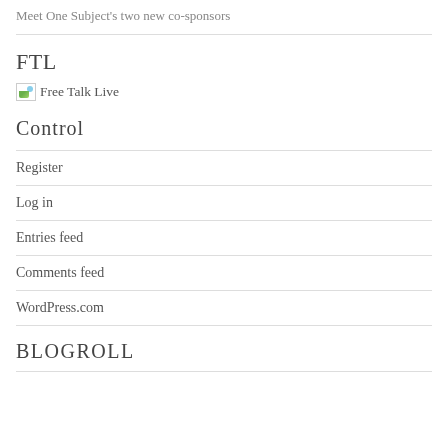Meet One Subject's two new co-sponsors
FTL
[Figure (illustration): Broken image icon followed by text 'Free Talk Live']
Control
Register
Log in
Entries feed
Comments feed
WordPress.com
BLOGROLL